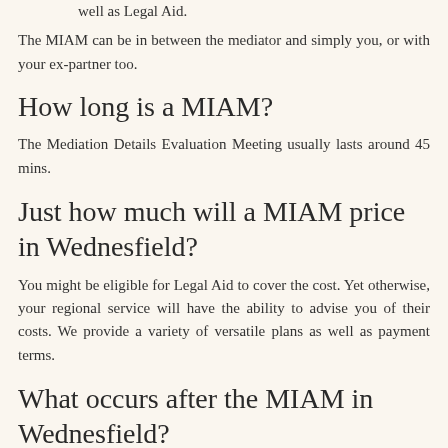well as Legal Aid.
The MIAM can be in between the mediator and simply you, or with your ex-partner too.
How long is a MIAM?
The Mediation Details Evaluation Meeting usually lasts around 45 mins.
Just how much will a MIAM price in Wednesfield?
You might be eligible for Legal Aid to cover the cost. Yet otherwise, your regional service will have the ability to advise you of their costs. We provide a variety of versatile plans as well as payment terms.
What occurs after the MIAM in Wednesfield?